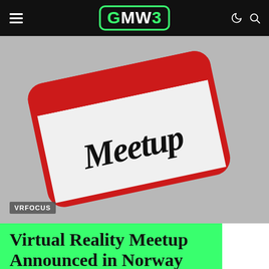GMW3
[Figure (illustration): A tilted red name-tag card with rounded corners and white center panel. The word 'Meetup' is written in bold black handwritten/brush lettering on the white panel. The card is set against a grey background.]
VRFOCUS
Virtual Reality Meetup Announced in Norway